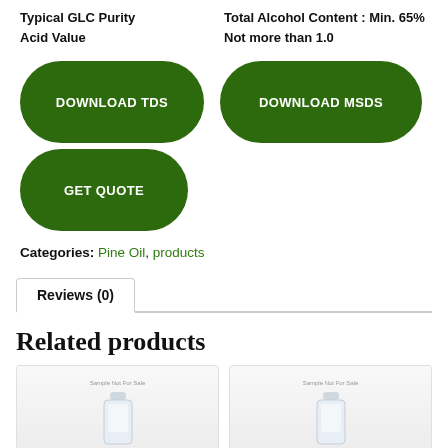Typical GLC Purity
Acid Value
Total Alcohol Content : Min. 65%
Not more than 1.0
[Figure (other): Three green rounded pill-shaped buttons: DOWNLOAD TDS, DOWNLOAD MSDS, GET QUOTE]
Categories: Pine Oil, products
Reviews (0)
Related products
[Figure (photo): Two product bottle images side by side with 'Sample Not For Sale' labels, white background]